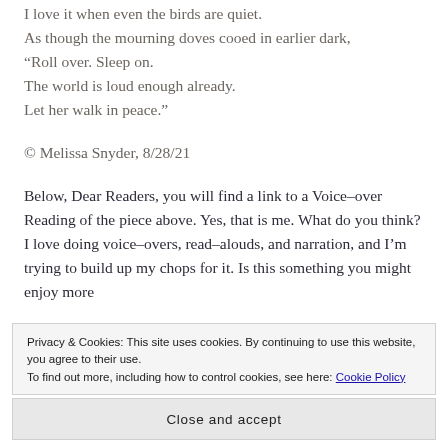I love it when even the birds are quiet.
As though the mourning doves cooed in earlier dark,
“Roll over. Sleep on.
The world is loud enough already.
Let her walk in peace.”
© Melissa Snyder, 8/28/21
Below, Dear Readers, you will find a link to a Voice-over Reading of the piece above. Yes, that is me. What do you think? I love doing voice-overs, read-alouds, and narration, and I’m trying to build up my chops for it. Is this something you might enjoy more
Privacy & Cookies: This site uses cookies. By continuing to use this website, you agree to their use.
To find out more, including how to control cookies, see here: Cookie Policy
Close and accept